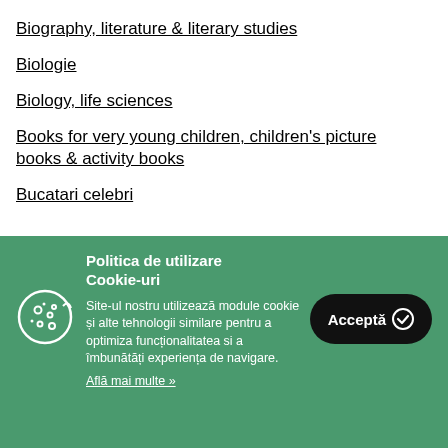Biography, literature & literary studies
Biologie
Biology, life sciences
Books for very young children, children's picture books & activity books
Bucatari celebri
Politica de utilizare Cookie-uri
Site-ul nostru utilizează module cookie și alte tehnologii similare pentru a optimiza funcționalitatea si a îmbunătăți experiența de navigare.
Află mai multe »